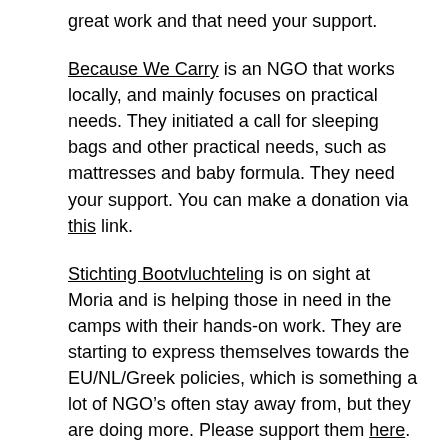great work and that need your support.
Because We Carry is an NGO that works locally, and mainly focuses on practical needs. They initiated a call for sleeping bags and other practical needs, such as mattresses and baby formula. They need your support. You can make a donation via this link.
Stichting Bootvluchteling is on sight at Moria and is helping those in need in the camps with their hands-on work. They are starting to express themselves towards the EU/NL/Greek policies, which is something a lot of NGO’s often stay away from, but they are doing more. Please support them here.
It’s often difficult to find the right resources to know what’s really going on. We were made aware of an Instagram account from Syrian photographer Yousef